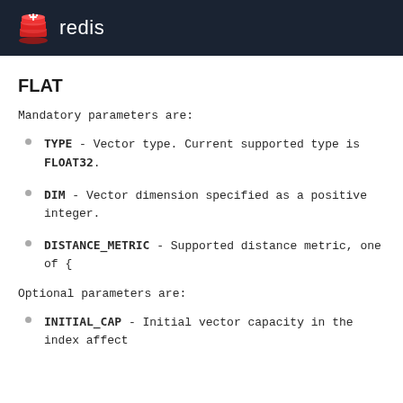redis
FLAT
Mandatory parameters are:
TYPE - Vector type. Current supported type is FLOAT32.
DIM - Vector dimension specified as a positive integer.
DISTANCE_METRIC - Supported distance metric, one of {
Optional parameters are:
INITIAL_CAP - Initial vector capacity in the index affect